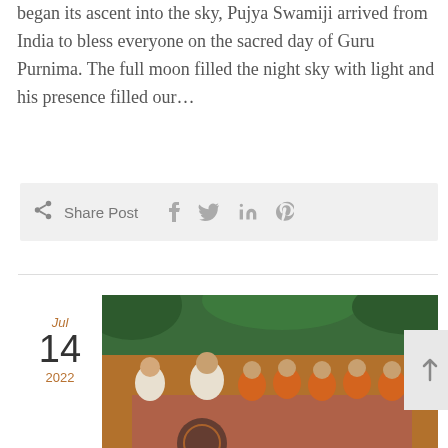began its ascent into the sky, Pujya Swamiji arrived from India to bless everyone on the sacred day of Guru Purnima. The full moon filled the night sky with light and his presence filled our…
Share Post
[Figure (photo): Photo of a group of people dressed in saffron/orange robes seated in a ceremony or prayer gathering, overlaid with a date card showing Jul 14 2022.]